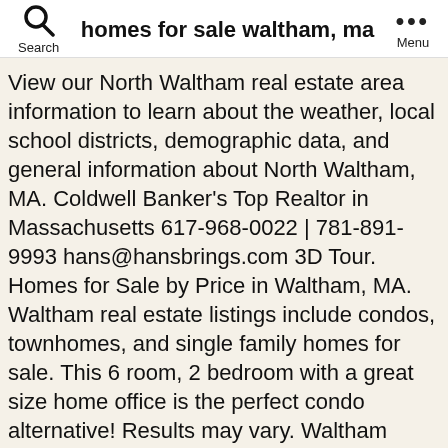homes for sale waltham, ma
View our North Waltham real estate area information to learn about the weather, local school districts, demographic data, and general information about North Waltham, MA. Coldwell Banker's Top Realtor in Massachusetts 617-968-0022 | 781-891-9993 hans@hansbrings.com 3D Tour. Homes for Sale by Price in Waltham, MA. Waltham real estate listings include condos, townhomes, and single family homes for sale. This 6 room, 2 bedroom with a great size home office is the perfect condo alternative! Results may vary. Waltham homes for sale range from $225K - $2.38M with the avg price of a 2-bed single family home of $457K. Buying a home for the first time can be terrifyingly intimidating—there's s... A pre-approval letter from a lender makes your offer stronger. If you have feedback about an individual agent or office, please locate the office and contact the manager. Rocket Homes has 78 homes for sale in Waltham at a median price of $623,629. Explore homes